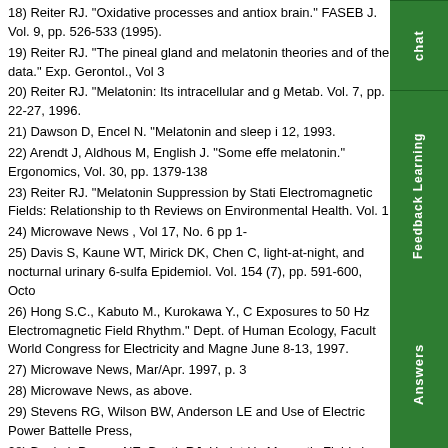18) Reiter RJ. "Oxidative processes and antiox brain." FASEB J. Vol. 9, pp. 526-533 (1995).
19) Reiter RJ. "The pineal gland and melatonin theories and of the data." Exp. Gerontol., Vol 3
20) Reiter RJ. "Melatonin: Its intracellular and g Metab. Vol. 7, pp. 22-27, 1996.
21) Dawson D, Encel N. "Melatonin and sleep i 12, 1993.
22) Arendt J, Aldhous M, English J. "Some effe melatonin." Ergonomics, Vol. 30, pp. 1379-138
23) Reiter RJ. "Melatonin Suppression by Stati Electromagnetic Fields: Relationship to th Reviews on Environmental Health. Vol. 1
24) Microwave News , Vol 17, No. 6 pp 1-
25) Davis S, Kaune WT, Mirick DK, Chen C, light-at-night, and nocturnal urinary 6-sulfa Epidemiol. Vol. 154 (7), pp. 591-600, Octo
26) Hong S.C., Kabuto M., Kurokawa Y., C Exposures to 50 Hz Electromagnetic Field Rhythm." Dept. of Human Ecology, Facult World Congress for Electricity and Magne June 8-13, 1997.
27) Microwave News, Mar/Apr. 1997, p. 3
28) Microwave News, as above.
29) Stevens RG, Wilson BW, Anderson LE and Use of Electric Power Battelle Press,
28) Beale I, Pearce NE, Booth RJ, Heriot Hz Magnetic Fields in Human Adults Livin Journal, Vol. 20, No. 2, pp. 9-12, 15, 30, A "Anecdotal case histories" at: <http://www January 28, 1999.